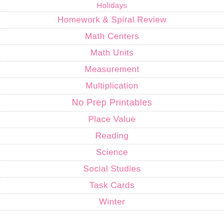Holidays
Homework & Spiral Review
Math Centers
Math Units
Measurement
Multiplication
No Prep Printables
Place Value
Reading
Science
Social Studies
Task Cards
Winter